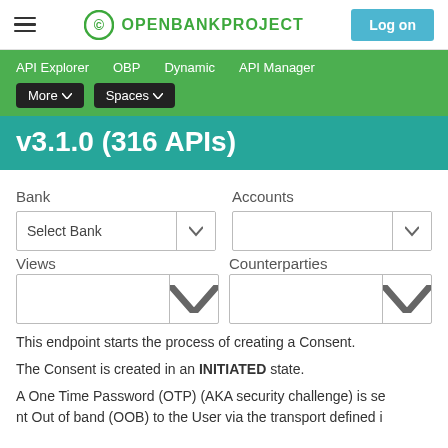OPENBANKPROJECT | Log on
API Explorer  OBP  Dynamic  API Manager  More ▾  Spaces ▾
v3.1.0 (316 APIs)
Bank  Accounts  Select Bank ∨  Views  Counterparties
This endpoint starts the process of creating a Consent.
The Consent is created in an INITIATED state.
A One Time Password (OTP) (AKA security challenge) is sent Out of band (OOB) to the User via the transport defined i